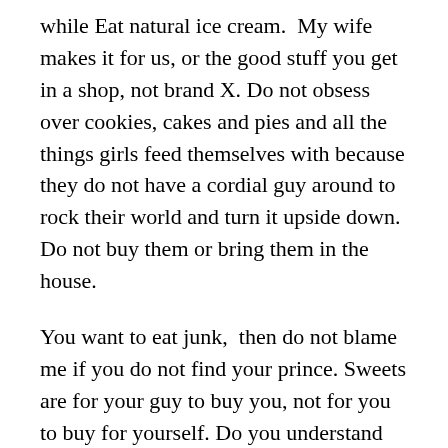while Eat natural ice cream.  My wife makes it for us, or the good stuff you get in a shop, not brand X. Do not obsess over cookies, cakes and pies and all the things girls feed themselves with because they do not have a cordial guy around to rock their world and turn it upside down. Do not buy them or bring them in the house.
You want to eat junk,  then do not blame me if you do not find your prince. Sweets are for your guy to buy you, not for you to buy for yourself. Do you understand that.  If you have no guy, do not be chowing down on cakes alone. Wait until you have your prince and he takes you out for ice cream. A lot has been research about how to